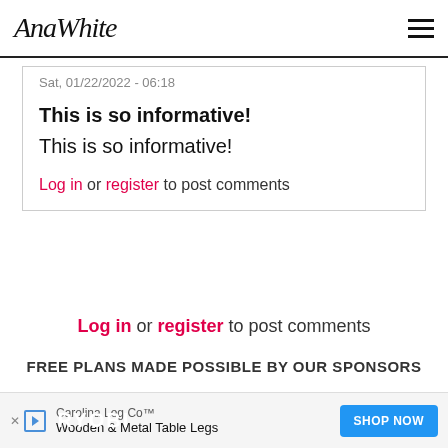AnaWhite
Sat, 01/22/2022 - 06:18
This is so informative!
This is so informative!
Log in or register to post comments
Log in or register to post comments
FREE PLANS MADE POSSIBLE BY OUR SPONSORS
[Figure (other): Sponsor logos banner: RYOBI, Kreg, and a third brand on dark background]
[Figure (other): Ad overlay: Carolina Leg Co - Wooden & Metal Table Legs with SHOP NOW button]